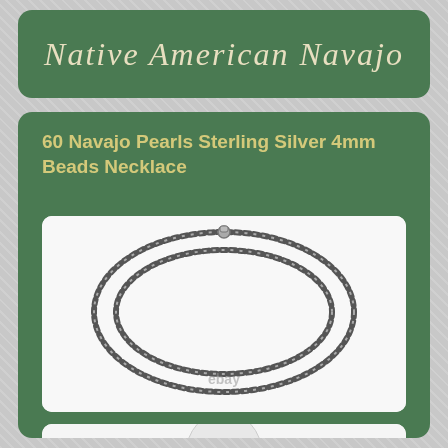Native American Navajo
60 Navajo Pearls Sterling Silver 4mm Beads Necklace
[Figure (photo): Double-strand Navajo pearl sterling silver bead necklace laid flat in oval shape, with small clasp at top, shown against white background. eBay watermark visible.]
[Figure (photo): Navajo pearl sterling silver bead necklace shown draped on a white mannequin neck display, multiple strands visible.]